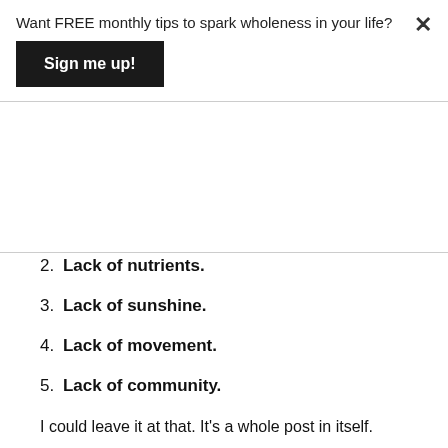Want FREE monthly tips to spark wholeness in your life?
Sign me up!
×
2. Lack of nutrients.
3. Lack of sunshine.
4. Lack of movement.
5. Lack of community.
I could leave it at that. It's a whole post in itself.
But I want to flip this, because most of us know these things on some level. However, during times of stress, we often forget to take care of ourselves. We forget that we humans are basically just plants, and plants left